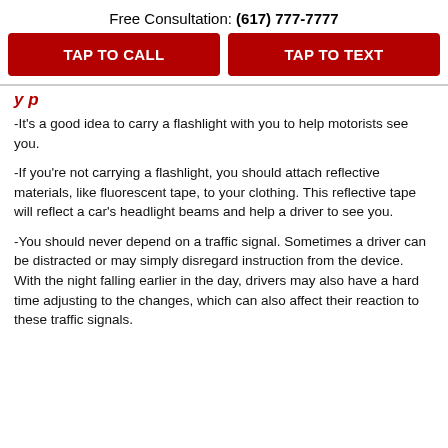Free Consultation: (617) 777-7777
TAP TO CALL
TAP TO TEXT
...y p...
-It's a good idea to carry a flashlight with you to help motorists see you.
-If you're not carrying a flashlight, you should attach reflective materials, like fluorescent tape, to your clothing. This reflective tape will reflect a car's headlight beams and help a driver to see you.
-You should never depend on a traffic signal. Sometimes a driver can be distracted or may simply disregard instruction from the device. With the night falling earlier in the day, drivers may also have a hard time adjusting to the changes, which can also affect their reaction to these traffic signals.